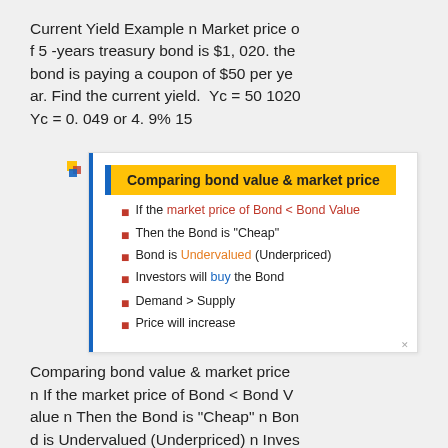Current Yield Example n Market price of 5-years treasury bond is $1,020. the bond is paying a coupon of $50 per year. Find the current yield. Yc = 50 1020 Yc = 0.049 or 4.9% 15
[Figure (infographic): Slide box titled 'Comparing bond value & market price' with bullet points about bond valuation: If the market price of Bond < Bond Value, Then the Bond is "Cheap", Bond is Undervalued (Underpriced), Investors will buy the Bond, Demand > Supply, Price will increase]
Comparing bond value & market price n If the market price of Bond < Bond Value n Then the Bond is "Cheap" n Bond is Undervalued (Underpriced) n Investors will buy the Bond n Demand > Supply n Price will increase 16